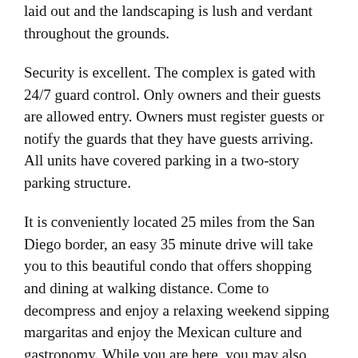laid out and the landscaping is lush and verdant throughout the grounds.
Security is excellent. The complex is gated with 24/7 guard control. Only owners and their guests are allowed entry. Owners must register guests or notify the guards that they have guests arriving. All units have covered parking in a two-story parking structure.
It is conveniently located 25 miles from the San Diego border, an easy 35 minute drive will take you to this beautiful condo that offers shopping and dining at walking distance. Come to decompress and enjoy a relaxing weekend sipping margaritas and enjoy the Mexican culture and gastronomy. While you are here, you may also consider a visit to the Guadalupe Valley in Ensenada, our famous wine country which is a 45 minute drive.